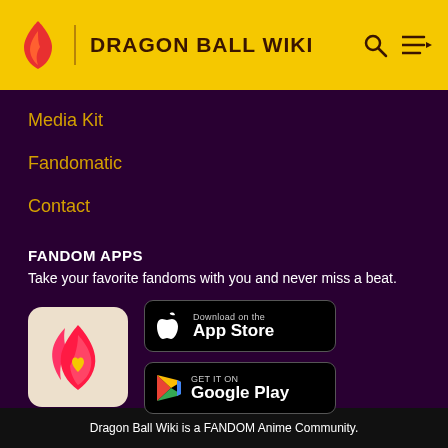DRAGON BALL WIKI
Media Kit
Fandomatic
Contact
FANDOM APPS
Take your favorite fandoms with you and never miss a beat.
[Figure (logo): Fandom app icon with pink/red flame shape and yellow heart on beige background]
[Figure (screenshot): Download on the App Store button (black, rounded rectangle)]
[Figure (screenshot): GET IT ON Google Play button (black, rounded rectangle)]
Dragon Ball Wiki is a FANDOM Anime Community.